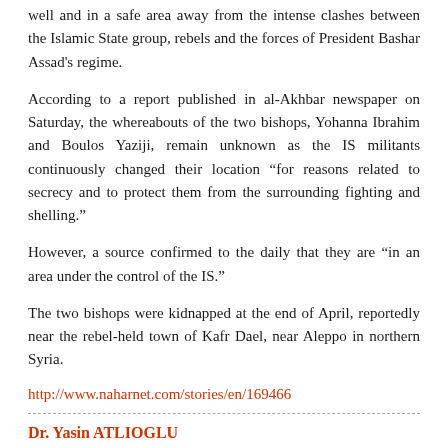well and in a safe area away from the intense clashes between the Islamic State group, rebels and the forces of President Bashar Assad's regime.
According to a report published in al-Akhbar newspaper on Saturday, the whereabouts of the two bishops, Yohanna Ibrahim and Boulos Yaziji, remain unknown as the IS militants continuously changed their location “for reasons related to secrecy and to protect them from the surrounding fighting and shelling.”
However, a source confirmed to the daily that they are “in an area under the control of the IS.”
The two bishops were kidnapped at the end of April, reportedly near the rebel-held town of Kafr Dael, near Aleppo in northern Syria.
http://www.naharnet.com/stories/en/169466
Dr. Yasin ATLIOGLU
Share